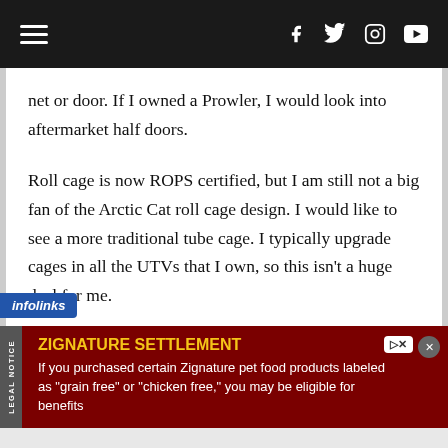Navigation bar with hamburger menu and social icons (Facebook, Twitter, Instagram, YouTube)
net or door. If I owned a Prowler, I would look into aftermarket half doors.
Roll cage is now ROPS certified, but I am still not a big fan of the Arctic Cat roll cage design. I would like to see a more traditional tube cage. I typically upgrade cages in all the UTVs that I own, so this isn't a huge deal for me.
Restraints – Arctic Cat has stepped up and moved away from a lap belt only and
[Figure (other): infolinks badge overlay on article]
ZIGNATURE SETTLEMENT
If you purchased certain Zignature pet food products labeled as "grain free" or "chicken free," you may be eligible for benefits